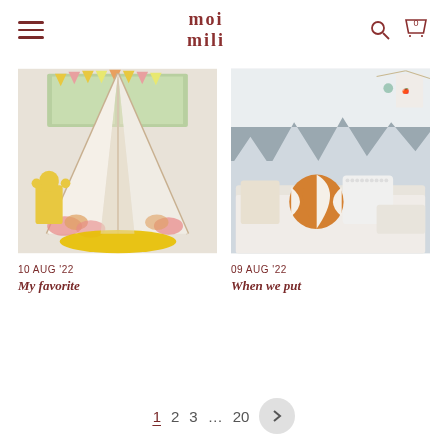moi mili — navigation header with hamburger menu, logo, search and cart icons
[Figure (photo): Children's teepee tent with floral fabric and yellow interior mat, colorful bunting flags in background]
10 AUG '22
My favorite
[Figure (photo): Children's bedroom with grey mountain wall mural, orange and white pillows on a bed]
09 AUG '22
When we put
1  2  3  ...  20  >